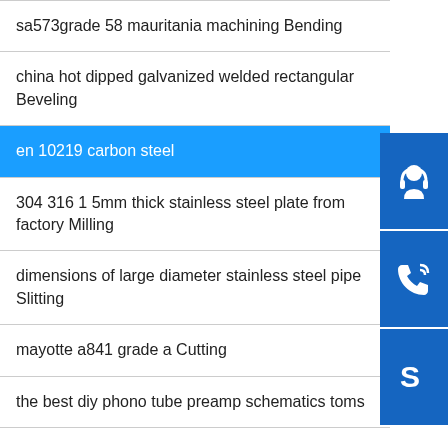sa573grade 58 mauritania machining Bending
china hot dipped galvanized welded rectangular Beveling
en 10219 carbon steel
304 316 1 5mm thick stainless steel plate from factory Milling
dimensions of large diameter stainless steel pipe Slitting
mayotte a841 grade a Cutting
the best diy phono tube preamp schematics toms
[Figure (infographic): Three blue sidebar buttons with white icons: customer service headset icon, phone/call icon, and Skype icon]